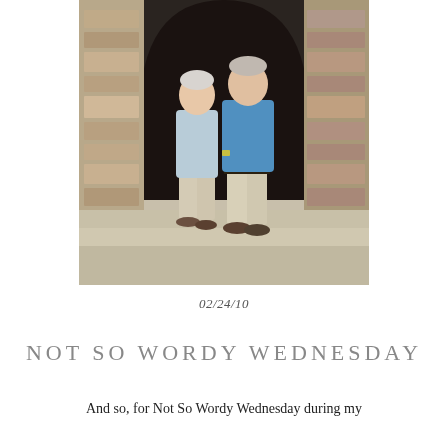[Figure (photo): An elderly couple standing under a stone archway. The woman on the left has short white hair and wears a light blue short-sleeve top with khaki capri pants and sandals. The man on the right is taller, wearing a blue polo shirt and khaki pants with brown shoes. They are looking at each other and appear to be on stone steps outside a stone building.]
02/24/10
NOT SO WORDY WEDNESDAY
And so, for Not So Wordy Wednesday during my